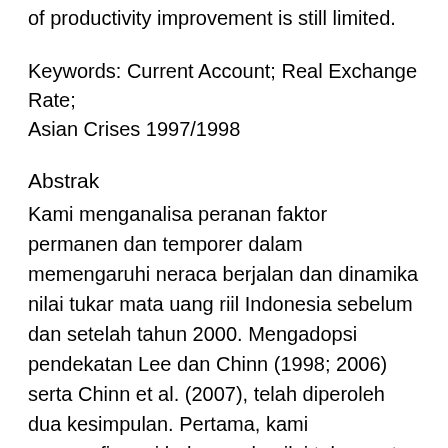of productivity improvement is still limited.
Keywords: Current Account; Real Exchange Rate; Asian Crises 1997/1998
Abstrak
Kami menganalisa peranan faktor permanen dan temporer dalam memengaruhi neraca berjalan dan dinamika nilai tukar mata uang riil Indonesia sebelum dan setelah tahun 2000. Mengadopsi pendekatan Lee dan Chinn (1998; 2006) serta Chinn et al. (2007), telah diperoleh dua kesimpulan. Pertama, kami mengonfirmasi bahwa pola nilai tukar mata uang riil telah berubah sejak tahun 2000. Identifikasi menunjukkan bahwa shock permanen adalah penyebab utama pergerakan nilai tukar mata uang riil setelah tahun 2000, sedangkan di periode sebelum tahun 2000 perubahan nilai tukar mata uang riil